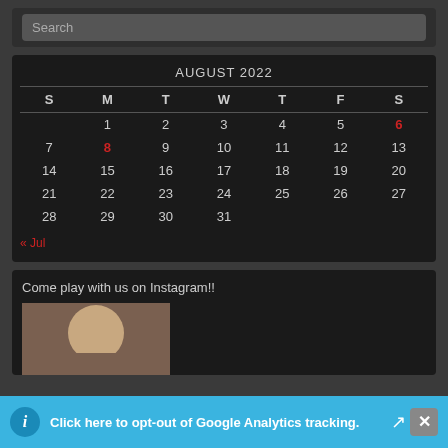Search
| S | M | T | W | T | F | S |
| --- | --- | --- | --- | --- | --- | --- |
|  | 1 | 2 | 3 | 4 | 5 | 6 |
| 7 | 8 | 9 | 10 | 11 | 12 | 13 |
| 14 | 15 | 16 | 17 | 18 | 19 | 20 |
| 21 | 22 | 23 | 24 | 25 | 26 | 27 |
| 28 | 29 | 30 | 31 |  |  |  |
« Jul
Come play with us on Instagram!!
[Figure (photo): Person photo thumbnail for Instagram section]
Click here to opt-out of Google Analytics tracking.